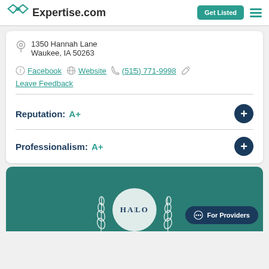Expertise.com | Get Listed
1350 Hannah Lane
Waukee, IA 50263
Facebook | Website | (515) 771-9998 | Leave Feedback
Reputation: A+
Professionalism: A+
[Figure (logo): HALO logo with leaf decorations on teal background]